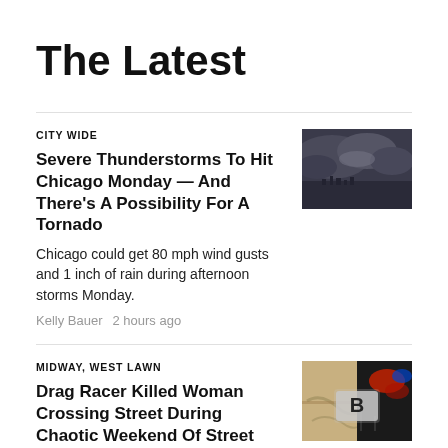The Latest
CITY WIDE
Severe Thunderstorms To Hit Chicago Monday — And There's A Possibility For A Tornado
Chicago could get 80 mph wind gusts and 1 inch of rain during afternoon storms Monday.
Kelly Bauer   2 hours ago
[Figure (photo): Dark stormy sky over water with storm clouds]
MIDWAY, WEST LAWN
Drag Racer Killed Woman Crossing Street During Chaotic Weekend Of Street Takeovers, Police Say
VIDEO: Drifting and drag racing Downtown
[Figure (photo): Two images side by side: street scene and police lights at night, with Blockable logo overlay]